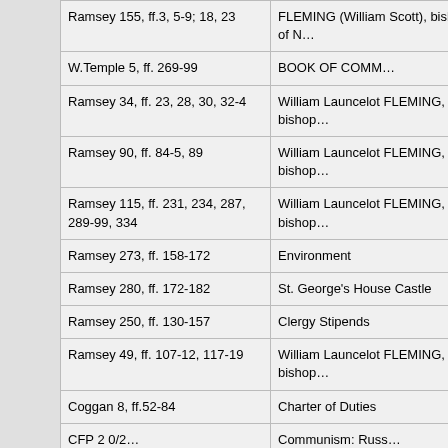| Ramsey 155, ff.3, 5-9; 18, 23 | FLEMING (William Scott), bishop of N… |
| W.Temple 5, ff. 269-99 | BOOK OF COMM… |
| Ramsey 34, ff. 23, 28, 30, 32-4 | William Launcelot FLEMING, bishop… |
| Ramsey 90, ff. 84-5, 89 | William Launcelot FLEMING, bishop… |
| Ramsey 115, ff. 231, 234, 287, 289-99, 334 | William Launcelot FLEMING, bishop… |
| Ramsey 273, ff. 158-172 | Environment |
| Ramsey 280, ff. 172-182 | St. George's House Castle |
| Ramsey 250, ff. 130-157 | Clergy Stipends |
| Ramsey 49, ff. 107-12, 117-19 | William Launcelot FLEMING, bishop… |
| Coggan 8, ff.52-84 | Charter of Duties |
| CFP 2 0/2… | Communism: Russ… |